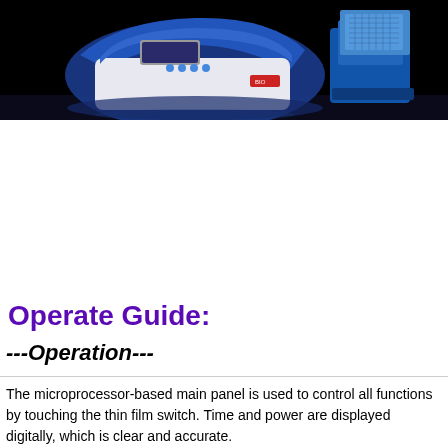[Figure (photo): Laboratory instruments: a PCR thermal cycler/electrophoresis device (blue and white) on the left and a microplate reader or similar device on the right, photographed against a black background with reflective surface.]
Operate Guide:
---Operation---
The microprocessor-based main panel is used to control all functions by touching the thin film switch. Time and power are displayed digitally, which is clear and accurate.
The laser cooling system is a closed circulating loop.
The coolant (distilled water or ion water) is circulated